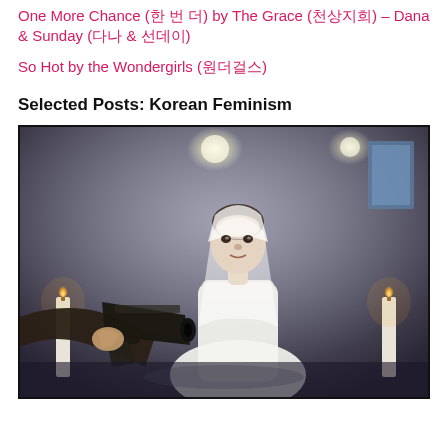One More Chance (한 번 더) by The Grace (천상지희) – Dana & Sunday (다나 & 선데이)
So Hot by the Wondergirls (원더걸스)
Selected Posts: Korean Feminism
[Figure (photo): A young woman dressed as a bride in a white wedding dress and veil, pointing a gun toward the camera. She stands in a dimly lit scene with candles and atmospheric lighting.]